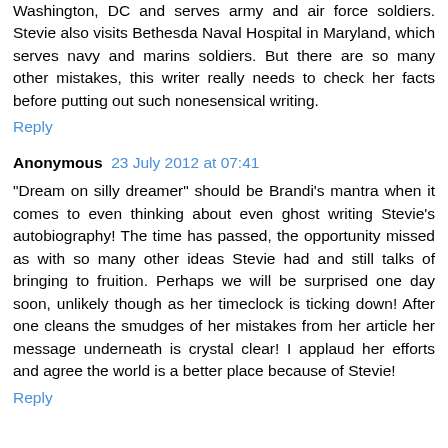Washington, DC and serves army and air force soldiers. Stevie also visits Bethesda Naval Hospital in Maryland, which serves navy and marins soldiers. But there are so many other mistakes, this writer really needs to check her facts before putting out such nonesensical writing.
Reply
Anonymous  23 July 2012 at 07:41
"Dream on silly dreamer" should be Brandi's mantra when it comes to even thinking about even ghost writing Stevie's autobiography! The time has passed, the opportunity missed as with so many other ideas Stevie had and still talks of bringing to fruition. Perhaps we will be surprised one day soon, unlikely though as her timeclock is ticking down! After one cleans the smudges of her mistakes from her article her message underneath is crystal clear! I applaud her efforts and agree the world is a better place because of Stevie!
Reply